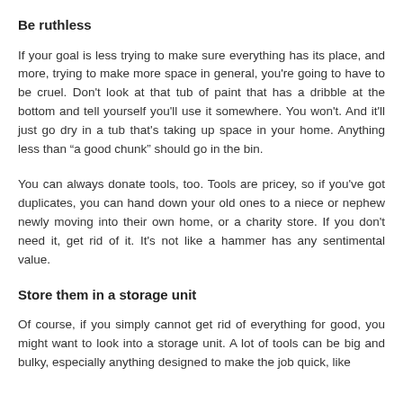Be ruthless
If your goal is less trying to make sure everything has its place, and more, trying to make more space in general, you're going to have to be cruel. Don't look at that tub of paint that has a dribble at the bottom and tell yourself you'll use it somewhere. You won't. And it'll just go dry in a tub that's taking up space in your home. Anything less than “a good chunk” should go in the bin.
You can always donate tools, too. Tools are pricey, so if you've got duplicates, you can hand down your old ones to a niece or nephew newly moving into their own home, or a charity store. If you don't need it, get rid of it. It's not like a hammer has any sentimental value.
Store them in a storage unit
Of course, if you simply cannot get rid of everything for good, you might want to look into a storage unit. A lot of tools can be big and bulky, especially anything designed to make the job quick, like